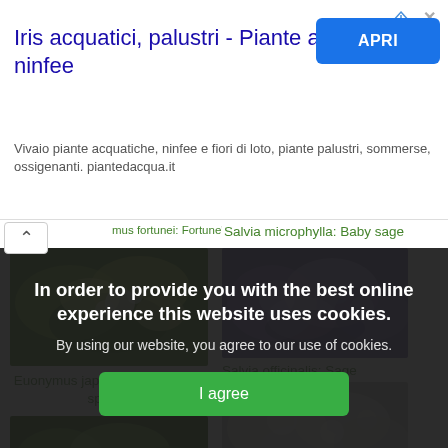[Figure (screenshot): Advertisement banner for Iris acquatici, palustri - Piante acquatiche, ninfee with APRI button]
Iris acquatici, palustri - Piante acquatiche, ninfee
Vivaio piante acquatiche, ninfee e fiori di loto, piante palustri, sommerse, ossigenanti. piantedacqua.it
mus fortunei: Fortune's spindle
[Figure (photo): Photo of Euonymus japonicus plant with green and yellow variegated leaves and white flowers]
Euonymus japonicus: Japanese spindle
[Figure (photo): Photo of Salvia microphylla flowers - purple/lilac small sage flowers]
Salvia microphylla: Baby sage
Salvia officinalis: Sage
[Figure (photo): Photo of Euonymus plant bottom - green succulent-like leaves]
[Figure (photo): Photo of Salvia officinalis - white flowering sage]
In order to provide you with the best online experience this website uses cookies.
By using our website, you agree to our use of cookies.
I agree